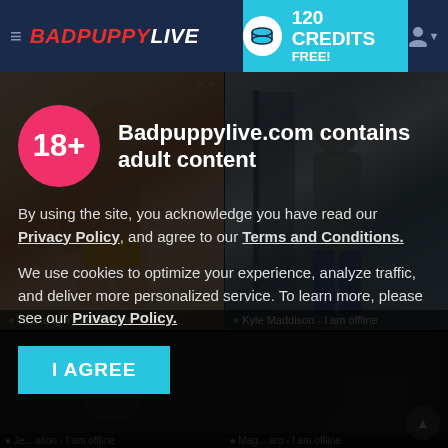BADPUPPYLIVE — 120 CREDITS FREE!
[Figure (screenshot): Two male fitness model photos side by side with offline status labels: left unnamed offline, right Kyle Maddison offline]
Badpuppylive.com contains adult content
By using the site, you acknowledge you have read our Privacy Policy, and agree to our Terms and Conditions.
We use cookies to optimize your experience, analyze traffic, and deliver more personalized service. To learn more, please see our Privacy Policy.
I AGREE